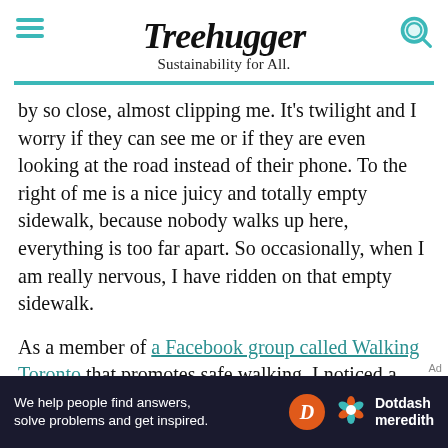Treehugger
Sustainability for All.
by so close, almost clipping me. It’s twilight and I worry if they can see me or if they are even looking at the road instead of their phone. To the right of me is a nice juicy and totally empty sidewalk, because nobody walks up here, everything is too far apart. So occasionally, when I am really nervous, I have ridden on that empty sidewalk.
As a member of a Facebook group called Walking Toronto that promotes safe walking, I noticed a post that started sensibly and innocuously, with “Let’s talk about cycling on the sidewalk. It's illegal for those 14
[Figure (other): Dotdash Meredith advertisement banner: 'We help people find answers, solve problems and get inspired.' with Dotdash Meredith logo]